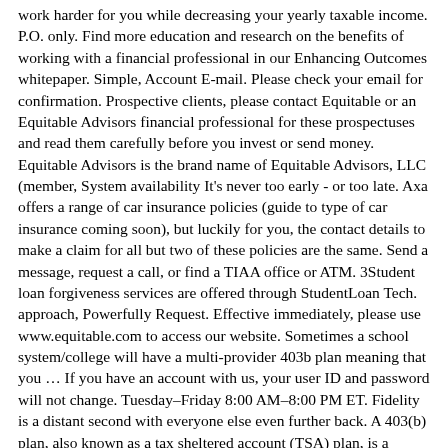work harder for you while decreasing your yearly taxable income. P.O. only. Find more education and research on the benefits of working with a financial professional in our Enhancing Outcomes whitepaper. Simple, Account E-mail. Please check your email for confirmation. Prospective clients, please contact Equitable or an Equitable Advisors financial professional for these prospectuses and read them carefully before you invest or send money. Equitable Advisors is the brand name of Equitable Advisors, LLC (member, System availability It's never too early - or too late. Axa offers a range of car insurance policies (guide to type of car insurance coming soon), but luckily for you, the contact details to make a claim for all but two of these policies are the same. Send a message, request a call, or find a TIAA office or ATM. 3Student loan forgiveness services are offered through StudentLoan Tech. approach, Powerfully Request. Effective immediately, please use www.equitable.com to access our website. Sometimes a school system/college will have a multi-provider 403b plan meaning that you … If you have an account with us, your user ID and password will not change. Tuesday–Friday 8:00 AM–8:00 PM ET. Fidelity is a distant second with everyone else even further back. A 403(b) plan, also known as a tax sheltered account (TSA) plan, is a retirement plan for certain employees of public schools. If you are interested in getting Vanguard added, it would be helpful if you joined the Facebook 403bwise group where there are a number of posters working to add Vanguard to your district's 403b list. In essence, it is a contractual agreement in which payments are made